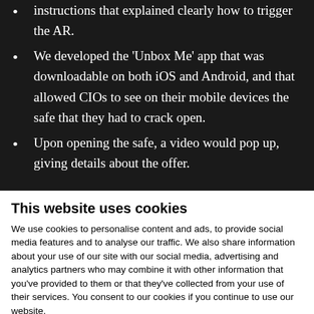instructions that explained clearly how to trigger the AR.
We developed the 'Unbox Me' app that was downloadable on both iOS and Android, and that allowed CIOs to see on their mobile devices the safe that they had to crack open.
Upon opening the safe, a video would pop up, giving details about the offer.
This website uses cookies
We use cookies to personalise content and ads, to provide social media features and to analyse our traffic. We also share information about your use of our site with our social media, advertising and analytics partners who may combine it with other information that you've provided to them or that they've collected from your use of their services. You consent to our cookies if you continue to use our website.
OK
Necessary | Preferences | Statistics | Marketing | Show details